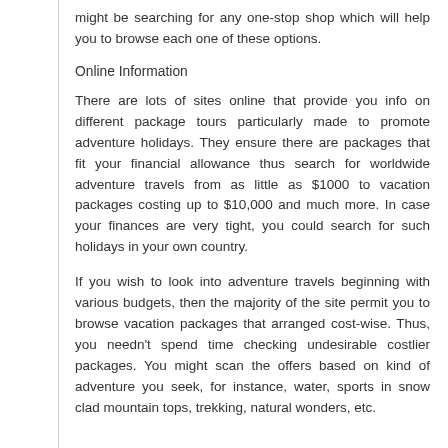might be searching for any one-stop shop which will help you to browse each one of these options.
Online Information
There are lots of sites online that provide you info on different package tours particularly made to promote adventure holidays. They ensure there are packages that fit your financial allowance thus search for worldwide adventure travels from as little as $1000 to vacation packages costing up to $10,000 and much more. In case your finances are very tight, you could search for such holidays in your own country.
If you wish to look into adventure travels beginning with various budgets, then the majority of the site permit you to browse vacation packages that arranged cost-wise. Thus, you needn't spend time checking undesirable costlier packages. You might scan the offers based on kind of adventure you seek, for instance, water, sports in snow clad mountain tops, trekking, natural wonders, etc.